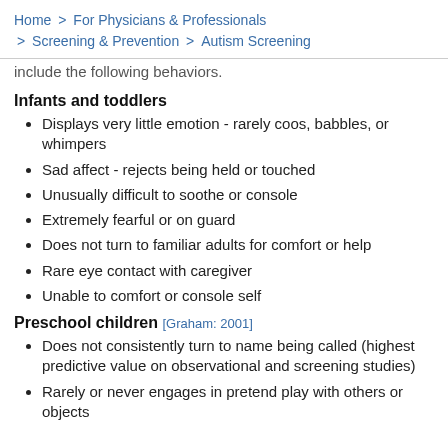Home > For Physicians & Professionals > Screening & Prevention > Autism Screening
include the following behaviors.
Infants and toddlers
Displays very little emotion - rarely coos, babbles, or whimpers
Sad affect - rejects being held or touched
Unusually difficult to soothe or console
Extremely fearful or on guard
Does not turn to familiar adults for comfort or help
Rare eye contact with caregiver
Unable to comfort or console self
Preschool children [Graham: 2001]
Does not consistently turn to name being called (highest predictive value on observational and screening studies)
Rarely or never engages in pretend play with others or objects